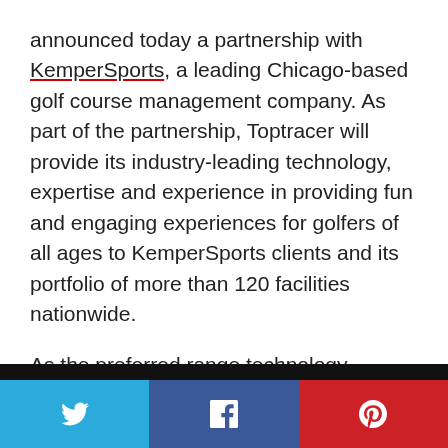announced today a partnership with KemperSports, a leading Chicago-based golf course management company. As part of the partnership, Toptracer will provide its industry-leading technology, expertise and experience in providing fun and engaging experiences for golfers of all ages to KemperSports clients and its portfolio of more than 120 facilities nationwide.
As the preferred range technology partner, Toptracer will work individually with the facilities in KemperSports portfolio to deliver entertainment-driven experiences to enhance customer experience with the goal of increasing revenue and customer